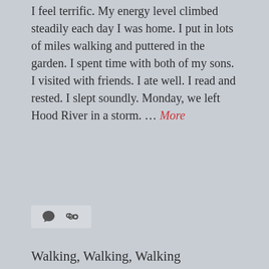I feel terrific. My energy level climbed steadily each day I was home. I put in lots of miles walking and puttered in the garden. I spent time with both of my sons. I visited with friends. I ate well. I read and rested. I slept soundly. Monday, we left Hood River in a storm. … More
[Figure (other): Comment bubble icon and chain link icon in a light gray bar]
Walking, Walking, Walking
July 30, 2008
Day by day, my strength and stamina improve. Marilyn and I increased the length of our walks each of the last four days. Saturday, we walked the perimeter of Volunteer Park and then a portion of the Capitol Hill neighborhood. Sunday, we drove to Woodinville to visit